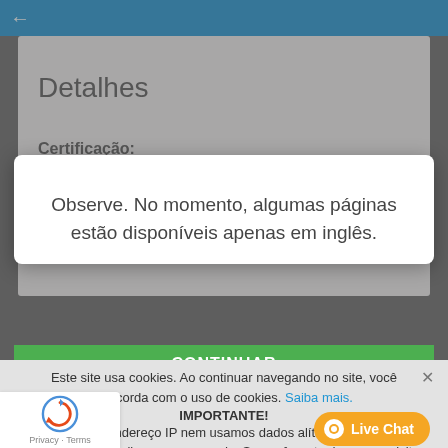←
Detalhes
Certificação:
Observe. No momento, algumas páginas estão disponíveis apenas em inglês.
Este site usa cookies. Ao continuar navegando no site, você concorda com o uso de cookies. Saiba mais.
IMPORTANTE!
rastreamos seu endereço IP nem usamos dados alíticos, pixels ou cookies para refocalizar a propaganda. Se você gosta d visite-nos